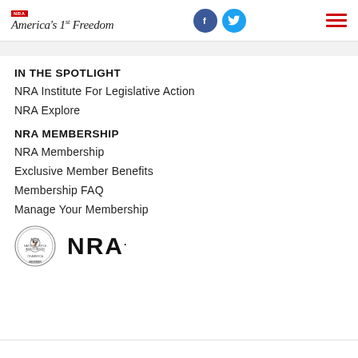NRA America's 1st Freedom
IN THE SPOTLIGHT
NRA Institute For Legislative Action
NRA Explore
NRA MEMBERSHIP
NRA Membership
Exclusive Member Benefits
Membership FAQ
Manage Your Membership
[Figure (logo): NRA Member seal and NRA logo]